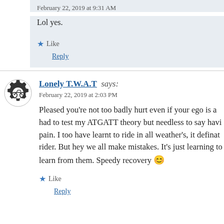February 22, 2019 at 9:31 AM
Lol yes.
Like
Reply
Lonely T.W.A.T says:
February 22, 2019 at 2:03 PM
Pleased you’re not too badly hurt even if your ego is a had to test my ATGATT theory but needless to say havi pain. I too have learnt to ride in all weather’s, it definat rider. But hey we all make mistakes. It’s just learning to learn from them. Speedy recovery 😊
Like
Reply